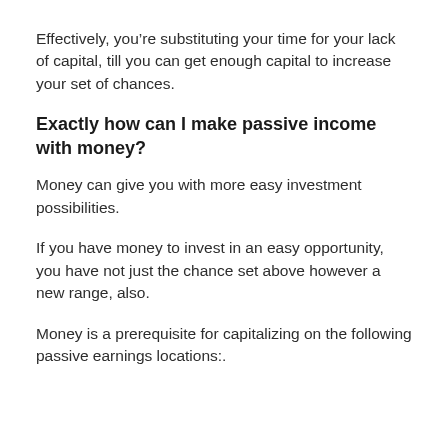Effectively, you’re substituting your time for your lack of capital, till you can get enough capital to increase your set of chances.
Exactly how can I make passive income with money?
Money can give you with more easy investment possibilities.
If you have money to invest in an easy opportunity, you have not just the chance set above however a new range, also.
Money is a prerequisite for capitalizing on the following passive earnings locations:.